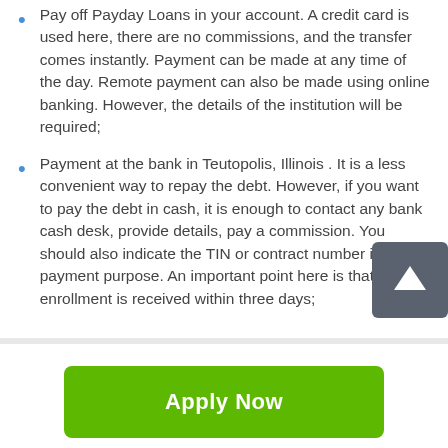Pay off Payday Loans in your account. A credit card is used here, there are no commissions, and the transfer comes instantly. Payment can be made at any time of the day. Remote payment can also be made using online banking. However, the details of the institution will be required;
Payment at the bank in Teutopolis, Illinois . It is a less convenient way to repay the debt. However, if you want to pay the debt in cash, it is enough to contact any bank cash desk, provide details, pay a commission. You should also indicate the TIN or contract number in payment purpose. An important point here is that the enrollment is received within three days;
[Figure (other): Green 'Apply Now' button]
Applying does NOT affect your credit score!
No credit check to apply.